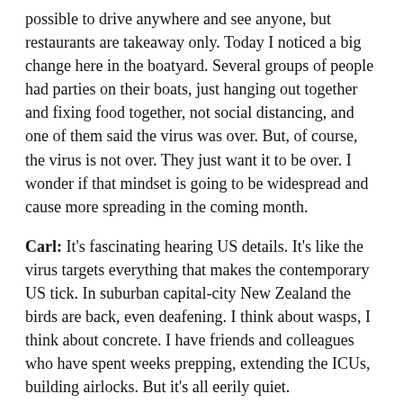possible to drive anywhere and see anyone, but restaurants are takeaway only. Today I noticed a big change here in the boatyard. Several groups of people had parties on their boats, just hanging out together and fixing food together, not social distancing, and one of them said the virus was over. But, of course, the virus is not over. They just want it to be over. I wonder if that mindset is going to be widespread and cause more spreading in the coming month.
Carl: It's fascinating hearing US details. It's like the virus targets everything that makes the contemporary US tick. In suburban capital-city New Zealand the birds are back, even deafening. I think about wasps, I think about concrete. I have friends and colleagues who have spent weeks prepping, extending the ICUs, building airlocks. But it's all eerily quiet.
I so love Lucky Jim and smile right now at the thought of picking it up again, but I get how contemporary audiences might not get it at all. I quote Kingsley to my eight-year-old sometimes, as an example of childish adults and childishness generally. 'I must stress the moral here, and I want it before...